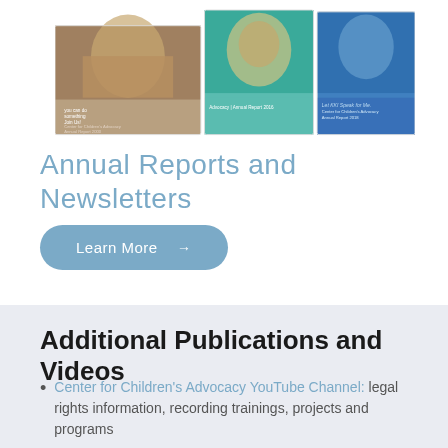[Figure (photo): Three annual report covers displayed side by side: a brown/tan cover with a person's photo, a teal cover with a smiling child, and a blue cover with another person. Each shows text about Center for Children's Advocacy Annual Reports.]
Annual Reports and Newsletters
Learn More →
Additional Publications and Videos
Center for Children's Advocacy YouTube Channel: legal rights information, recording trainings, projects and programs